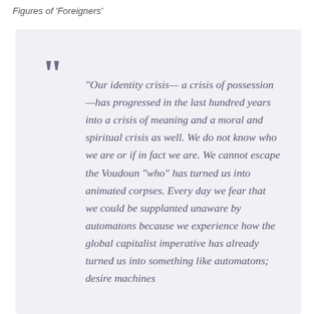Figures of 'Foreigners'
“Our identity crisis— a crisis of possession —has progressed in the last hundred years into a crisis of meaning and a moral and spiritual crisis as well. We do not know who we are or if in fact we are. We cannot escape the Voudoun “who” has turned us into animated corpses. Every day we fear that we could be supplanted unaware by automatons because we experience how the global capitalist imperative has already turned us into something like automatons; desire machines